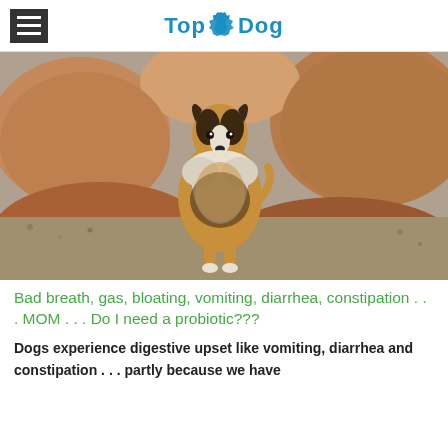TopDog
[Figure (photo): A Shetland Sheepdog (Sheltie) standing on rocks outdoors, with large boulders in the background. The dog has a classic sable and white coloring with a fluffy mane.]
Bad breath, gas, bloating, vomiting, diarrhea, constipation . . . MOM . . . Do I need a probiotic???
Dogs experience digestive upset like vomiting, diarrhea and constipation . . . partly because we have